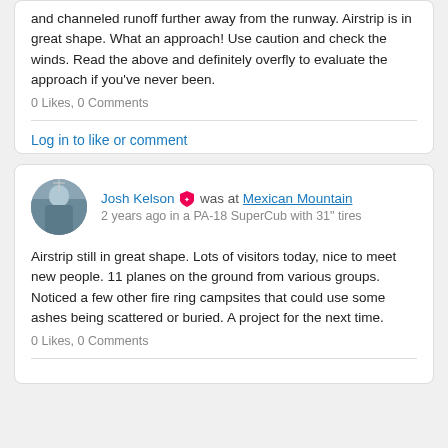and channeled runoff further away from the runway. Airstrip is in great shape. What an approach! Use caution and check the winds. Read the above and definitely overfly to evaluate the approach if you've never been.
0 Likes, 0 Comments
Log in to like or comment
Josh Kelson was at Mexican Mountain 2 years ago in a PA-18 SuperCub with 31" tires
Airstrip still in great shape. Lots of visitors today, nice to meet new people. 11 planes on the ground from various groups. Noticed a few other fire ring campsites that could use some ashes being scattered or buried. A project for the next time.
0 Likes, 0 Comments